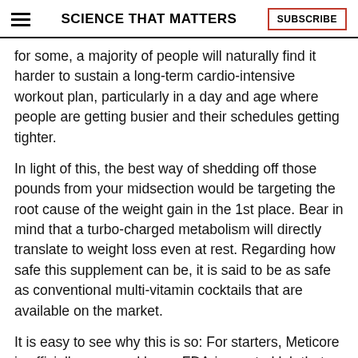SCIENCE THAT MATTERS | SUBSCRIBE
for some, a majority of people will naturally find it harder to sustain a long-term cardio-intensive workout plan, particularly in a day and age where people are getting busier and their schedules getting tighter.
In light of this, the best way of shedding off those pounds from your midsection would be targeting the root cause of the weight gain in the 1st place. Bear in mind that a turbo-charged metabolism will directly translate to weight loss even at rest. Regarding how safe this supplement can be, it is said to be as safe as conventional multi-vitamin cocktails that are available on the market.
It is easy to see why this is so: For starters, Meticore is officially approved by an FDA-inspected lab that